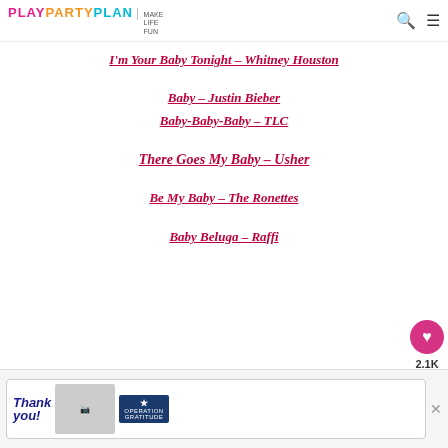PLAY PARTY PLAN | MAKE LIFE FUN
I'm Your Baby Tonight – Whitney Houston
Baby – Justin Bieber
Baby-Baby-Baby – TLC
There Goes My Baby – Usher
Be My Baby – The Ronettes
Baby Beluga – Raffi
[Figure (screenshot): Advertisement banner: Thank You with Operation Gratitude imagery, firefighters photo]